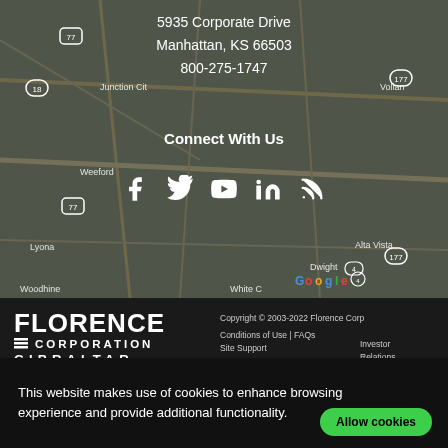[Figure (map): Google Maps screenshot showing area around Manhattan, KS with dark overlay]
5935 Corporate Drive
Manhattan, KS 66503
800-275-1747
Connect With Us
[Figure (infographic): Social media icons: Facebook, Twitter, YouTube, LinkedIn, RSS]
[Figure (logo): Florence Corporation Gibraltar logo in white on dark background]
Copyright © 2003-2022 Florence Corp.
Conditions of Use | FAQs
Site Support
Investor Relations
This website makes use of cookies to enhance browsing experience and provide additional functionality.